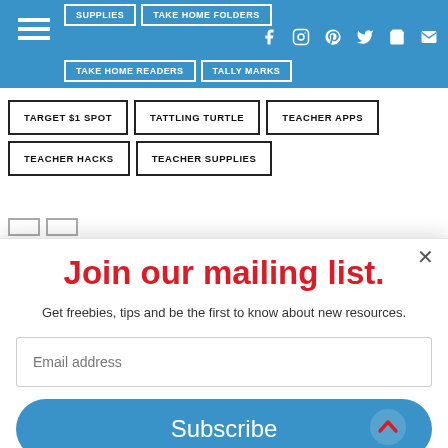Navigation bar with hamburger menu and social icons
SUPPLIES
TAKE HOME FOLDERS
TAKE HOME READERS
TALLY MARKS
TARGET $1 SPOT
TATTLING TURTLE
TEACHER APPS
TEACHER HACKS
TEACHER SUPPLIES
Join our mailing list.
Get freebies, tips and be the first to know about new resources.
Email address
Subscribe